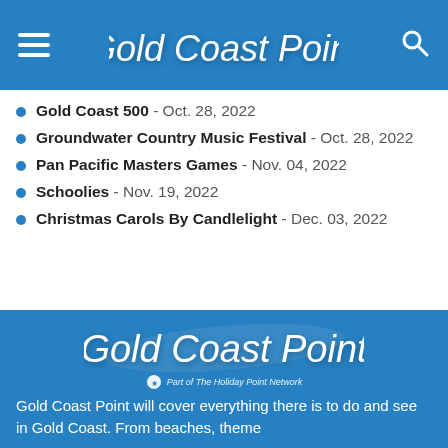Gold Coast Point
Gold Coast 500 - Oct. 28, 2022
Groundwater Country Music Festival - Oct. 28, 2022
Pan Pacific Masters Games - Nov. 04, 2022
Schoolies - Nov. 19, 2022
Christmas Carols By Candlelight - Dec. 03, 2022
[Figure (logo): Gold Coast Point logo with 'Part of The Holiday Point Network' subtitle]
Gold Coast Point will cover everything there is to do and see in Gold Coast. From beaches, theme